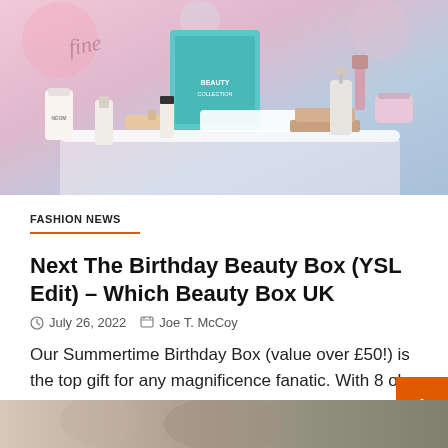[Figure (photo): Beauty products including skincare bottles, tubes, and boxes arranged on a white surface with a pink and purple gradient background. Brands visible include NEOM. Products include a teal box, lipstick, and various creams and serums.]
FASHION NEWS
Next The Birthday Beauty Box (YSL Edit) – Which Beauty Box UK
July 26, 2022   Joe T. McCoy
Our Summertime Birthday Box (value over £50!) is the top gift for any magnificence fanatic. With 8 oh-so special products...
[Figure (photo): Partial view of another article's thumbnail image at the bottom of the page.]